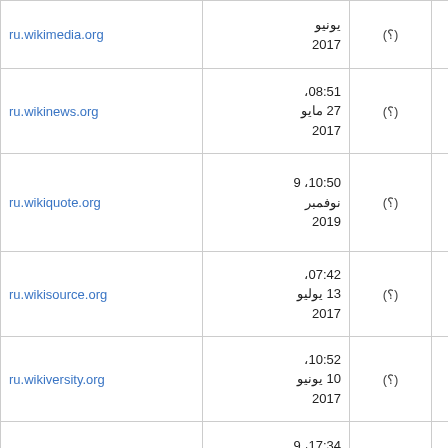| ru.wikimedia.org | يونيو 2017 | (؟) | — |
| ru.wikinews.org | 08:51، 27 مايو 2017 | (؟) | — |
| ru.wikiquote.org | 10:50، 9 نوفمبر 2019 | (؟) | — |
| ru.wikisource.org | 07:42، 13 يوليو 2017 | (؟) | — |
| ru.wikiversity.org | 10:52، 10 يونيو 2017 | (؟) | — |
| ru.wikivoyage.org | 17:34، 9 يونيو | (؟) | — |